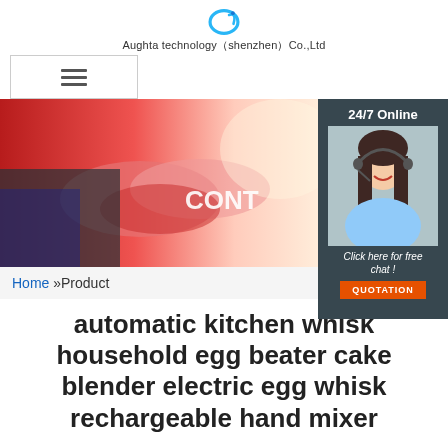[Figure (logo): Blue circular swirl logo icon for Aughta technology]
Aughta technology（shenzhen）Co.,Ltd
[Figure (screenshot): Hamburger menu icon inside a bordered rectangle]
[Figure (photo): Two people shaking hands with text overlay 'CONT' and 24/7 online chat widget showing a woman with headset, orange QUOTATION button]
Home »Product
automatic kitchen whisk household egg beater cake blender electric egg whisk rechargeable hand mixer